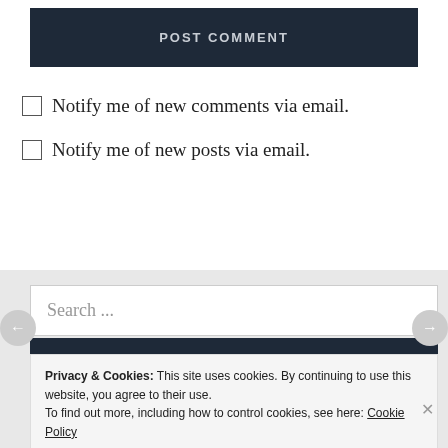POST COMMENT
Notify me of new comments via email.
Notify me of new posts via email.
Search ...
SEARCH
Privacy & Cookies: This site uses cookies. By continuing to use this website, you agree to their use.
To find out more, including how to control cookies, see here: Cookie Policy
Close and accept